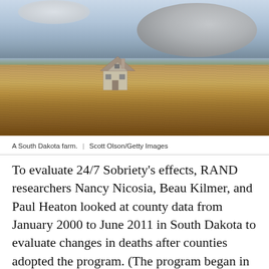[Figure (photo): An abandoned farmhouse standing alone in a vast golden wheat field under a dramatic cloudy sky in South Dakota.]
A South Dakota farm.  |  Scott Olson/Getty Images
To evaluate 24/7 Sobriety's effects, RAND researchers Nancy Nicosia, Beau Kilmer, and Paul Heaton looked at county data from January 2000 to June 2011 in South Dakota to evaluate changes in deaths after counties adopted the program. (The program began in 2005, but counties didn't take it up all at once, and it was a voluntary program for